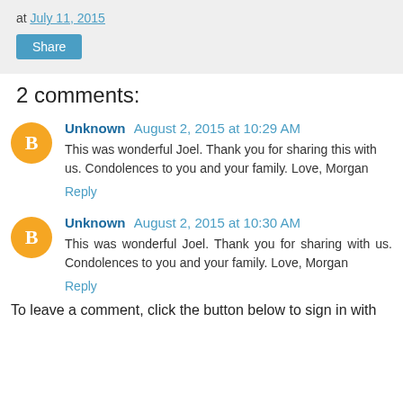at July 11, 2015
Share
2 comments:
Unknown  August 2, 2015 at 10:29 AM
This was wonderful Joel. Thank you for sharing this with us. Condolences to you and your family. Love, Morgan
Reply
Unknown  August 2, 2015 at 10:30 AM
This was wonderful Joel. Thank you for sharing with us. Condolences to you and your family. Love, Morgan
Reply
To leave a comment, click the button below to sign in with